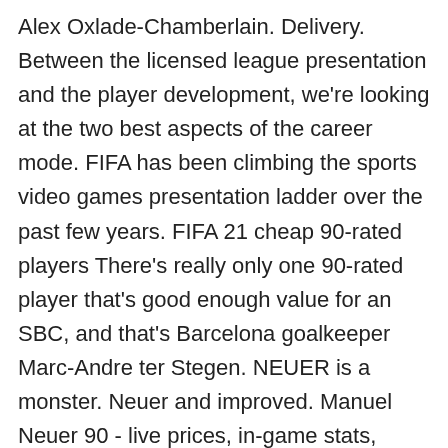Alex Oxlade-Chamberlain. Delivery. Between the licensed league presentation and the player development, we're looking at the two best aspects of the career mode. FIFA has been climbing the sports video games presentation ladder over the past few years. FIFA 21 cheap 90-rated players There's really only one 90-rated player that's good enough value for an SBC, and that's Barcelona goalkeeper Marc-Andre ter Stegen. NEUER is a monster. Neuer and improved. Manuel Neuer 90 - live prices, in-game stats, comments and reviews for FIFA 19 Ultimate Team FUT. Here is the good, the bad, and the bottom line with FIFA 21. The Direct Passing comes in handy, and feels a lot like Playmaker control in Madden. Call of Duty: Black Ops Cold War Reviews. Learn More FIFA 21 Career Mode Hidden Gems & Wonderkids - EA SPORTS Official Site. Read more... Sep 17, 2020. To be...